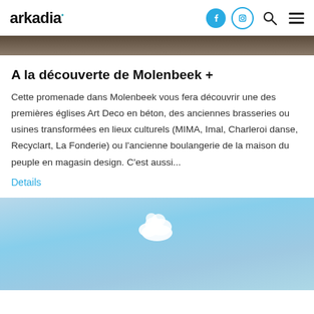arkadia
[Figure (photo): Top strip of a dark interior photo, partially visible]
A la découverte de Molenbeek +
Cette promenade dans Molenbeek vous fera découvrir une des premières églises Art Deco en béton, des anciennes brasseries ou usines transformées en lieux culturels (MIMA, Imal, Charleroi danse, Recyclart, La Fonderie) ou l'ancienne boulangerie de la maison du peuple en magasin design. C'est aussi...
Details
[Figure (photo): Blue sky with white clouds]